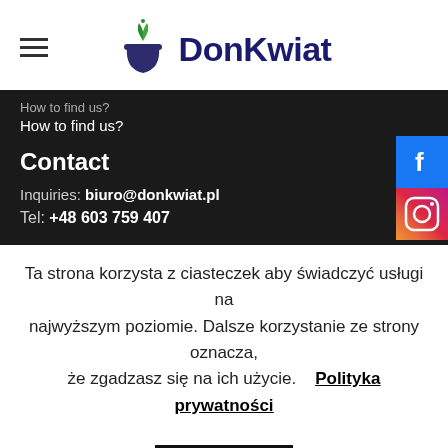[Figure (logo): DonKwiat logo with plant/flower icon and bold dark blue text 'DonKwiat']
How to find us?
Contact
Inquiries: biuro@donkwiat.pl
Tel: +48 603 759 407
[Figure (logo): Facebook social media icon button]
[Figure (logo): Instagram social media icon button]
Ta strona korzysta z ciasteczek aby świadczyć usługi na najwyższym poziomie. Dalsze korzystanie ze strony oznacza, że zgadzasz się na ich użycie.   Polityka prywatności
Akceptuj